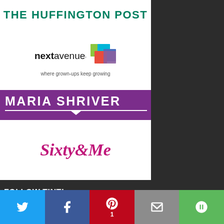[Figure (logo): The Huffington Post logo in green uppercase text]
[Figure (logo): Next Avenue logo with colored squares and tagline 'where grown-ups keep growing']
[Figure (logo): Maria Shriver logo — white uppercase text on purple background]
[Figure (logo): Sixty and Me logo in pink cursive italic text]
FOLLOW TINT!
[Figure (infographic): Social media icons: Facebook, Google+, Twitter, YouTube]
[Figure (infographic): Bottom share bar with Twitter, Facebook, Pinterest (1), Email, More buttons]